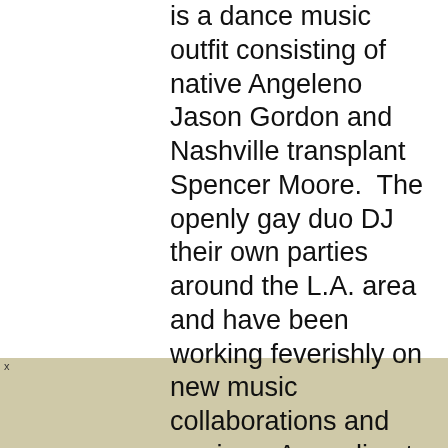is a dance music outfit consisting of native Angeleno Jason Gordon and Nashville transplant Spencer Moore.  The openly gay duo DJ their own parties around the L.A. area and have been working feverishly on new music collaborations and remixes. According to Jason, they 'seek to cultivate a high-end dancefloor experience as futuristic and attractive as any item in Skymall.' Their latest, 'The Shade (Pools Remix),' provides a healthy dose of Los Angeles-style deep house, perfect for lazy days by the pool.